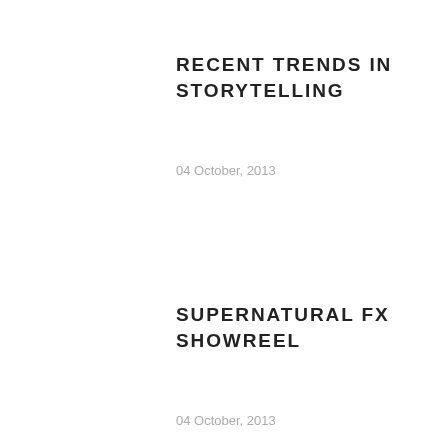RECENT TRENDS IN STORYTELLING
04 October, 2013
SUPERNATURAL FX SHOWREEL
04 October, 2013
TAGS
ANALYSIS
ART
ARTICLES
AUDIO
BUSINESS
CULTURE
DEVELOPMENT
ECOLOGY